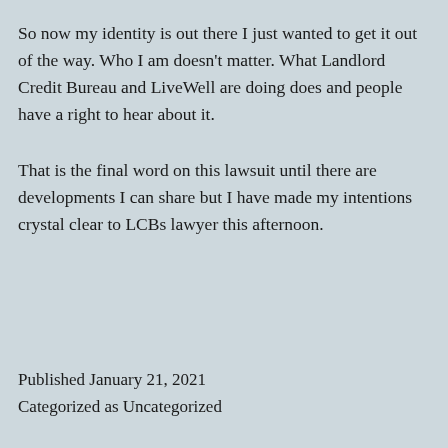So now my identity is out there I just wanted to get it out of the way. Who I am doesn’t matter. What Landlord Credit Bureau and LiveWell are doing does and people have a right to hear about it.
That is the final word on this lawsuit until there are developments I can share but I have made my intentions crystal clear to LCBs lawyer this afternoon.
Published January 21, 2021
Categorized as Uncategorized